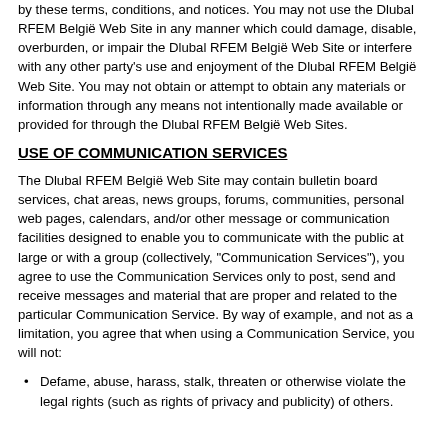by these terms, conditions, and notices. You may not use the Dlubal RFEM België Web Site in any manner which could damage, disable, overburden, or impair the Dlubal RFEM België Web Site or interfere with any other party's use and enjoyment of the Dlubal RFEM België Web Site. You may not obtain or attempt to obtain any materials or information through any means not intentionally made available or provided for through the Dlubal RFEM België Web Sites.
USE OF COMMUNICATION SERVICES
The Dlubal RFEM België Web Site may contain bulletin board services, chat areas, news groups, forums, communities, personal web pages, calendars, and/or other message or communication facilities designed to enable you to communicate with the public at large or with a group (collectively, "Communication Services"), you agree to use the Communication Services only to post, send and receive messages and material that are proper and related to the particular Communication Service. By way of example, and not as a limitation, you agree that when using a Communication Service, you will not:
Defame, abuse, harass, stalk, threaten or otherwise violate the legal rights (such as rights of privacy and publicity) of others.